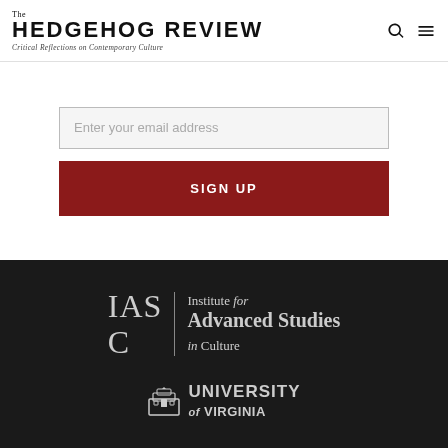The HEDGEHOG REVIEW — Critical Reflections on Contemporary Culture
Enter your email address
SIGN UP
[Figure (logo): IASC — Institute for Advanced Studies in Culture logo in white/grey on dark background]
[Figure (logo): University of Virginia logo in white/grey on dark background]